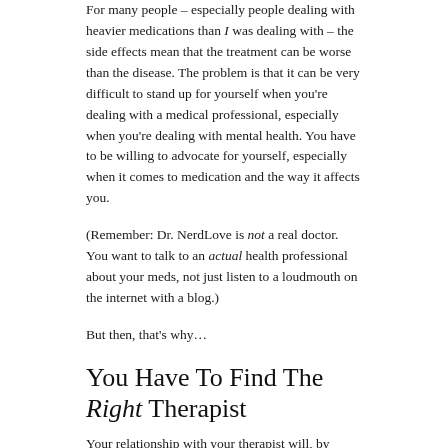For many people – especially people dealing with heavier medications than I was dealing with – the side effects mean that the treatment can be worse than the disease. The problem is that it can be very difficult to stand up for yourself when you're dealing with a medical professional, especially when you're dealing with mental health. You have to be willing to advocate for yourself, especially when it comes to medication and the way it affects you.
(Remember: Dr. NerdLove is not a real doctor. You want to talk to an actual health professional about your meds, not just listen to a loudmouth on the internet with a blog.)
But then, that's why…
You Have To Find The Right Therapist
Your relationship with your therapist will, by necessity, be an incredibly intimate one. You've gone to someone to ask for help with emotional issues, which means you're going to be